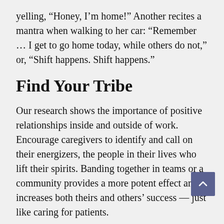yelling, “Honey, I’m home!” Another recites a mantra when walking to her car: “Remember … I get to go home today, while others do not,” or, “Shift happens. Shift happens.”
Find Your Tribe
Our research shows the importance of positive relationships inside and outside of work. Encourage caregivers to identify and call on their energizers, the people in their lives who lift their spirits. Banding together in teams or a community provides a more potent effect and increases both theirs and others’ success — just like caring for patients.
Emotions are contagious: Our brains are wired to mirror the body language and emotion of others. Although that contagion makes incivility dangerous (bringing us to the brink of “uncivil war”), it also